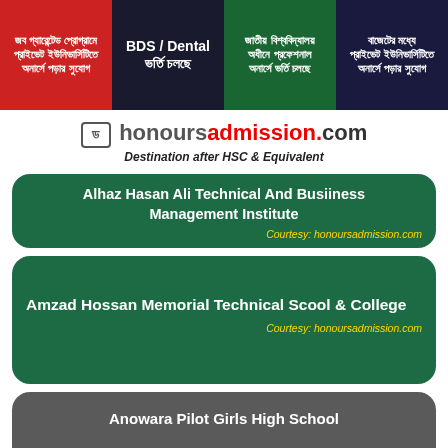[Figure (infographic): Four advertisement banners in Bengali text: red banner (job guaranteed program, private university honours), dark banner (BDS/Dental admission ongoing), green banner (National University professional honours admission), dark blue banner (budget-friendly private university honours)]
[Figure (logo): honoursadmission.com logo with tagline 'Destination after HSC & Equivalent']
Alhaz Hasan Ali Technical And Busiiness Management Institute
Courtesy: honoursadmission.com
Amzad Hossan Memorial Technical Scool & College
Courtesy: honoursadmission.com
Anowara Pilot Girls High School